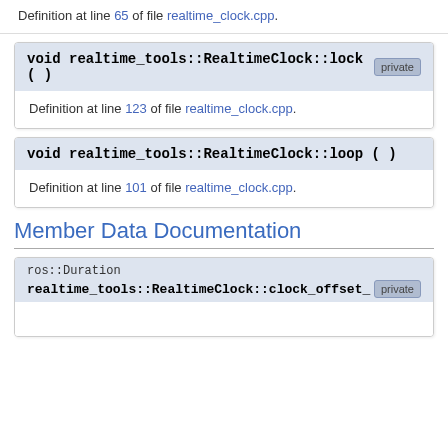Definition at line 65 of file realtime_clock.cpp.
void realtime_tools::RealtimeClock::lock ( )  [private]
Definition at line 123 of file realtime_clock.cpp.
void realtime_tools::RealtimeClock::loop ( )
Definition at line 101 of file realtime_clock.cpp.
Member Data Documentation
ros::Duration realtime_tools::RealtimeClock::clock_offset_  [private]